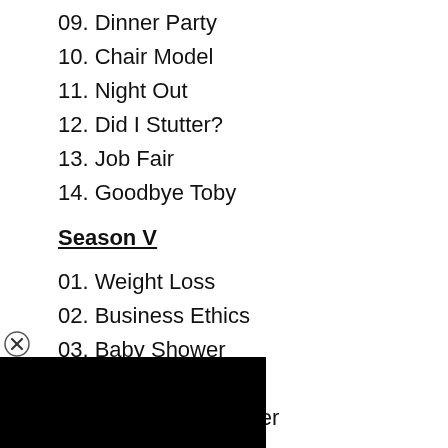09. Dinner Party
10. Chair Model
11. Night Out
12. Did I Stutter?
13. Job Fair
14. Goodbye Toby
Season V
01. Weight Loss
02. Business Ethics
03. Baby Shower
04. Crime Aid
05. Employee Transfer
[Figure (other): Black video/media player overlay with close (X) icon in circle at top-left corner]